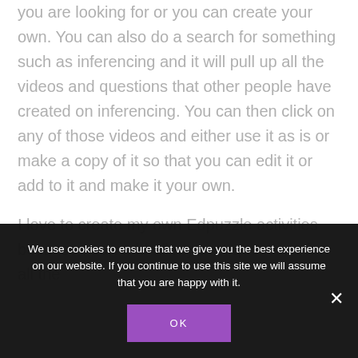you are looking for or you can create your own. You can also do a search for something such as inferencing and it will pull up all the videos and questions that other people have created on inferencing. You can then click on any of those videos and either use it as is or make a copy of it so that you can edit it or add to it and make it your own.
I love to create my own Edpuzzle activities because I can add all my own questions for all the
We use cookies to ensure that we give you the best experience on our website. If you continue to use this site we will assume that you are happy with it.
OK